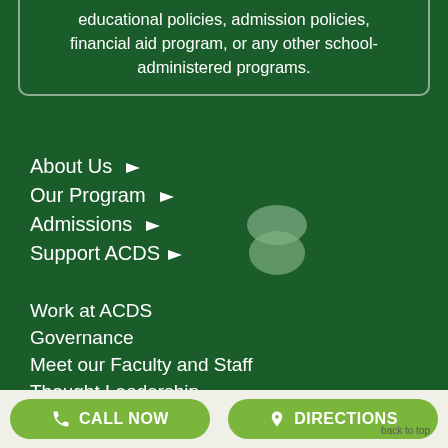educational policies, admission policies, financial aid program, or any other school-administered programs.
About Us ▸
Our Program ▸
Admissions ▸
Support ACDS ▸
[Figure (illustration): Decorative overlapping circle/oval icon in muted green tones]
Work at ACDS
Governance
Meet our Faculty and Staff
Thought Leadership
CALL NOW   DIRECTIONS   back to top